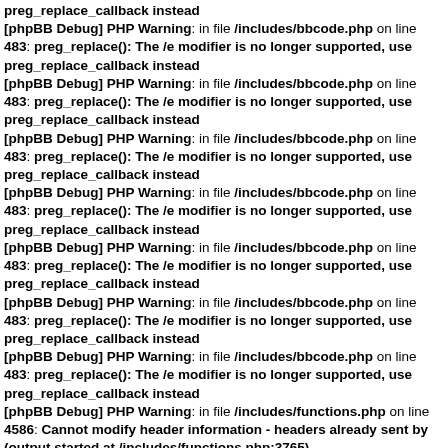preg_replace_callback instead
[phpBB Debug] PHP Warning: in file /includes/bbcode.php on line 483: preg_replace(): The /e modifier is no longer supported, use preg_replace_callback instead
[phpBB Debug] PHP Warning: in file /includes/bbcode.php on line 483: preg_replace(): The /e modifier is no longer supported, use preg_replace_callback instead
[phpBB Debug] PHP Warning: in file /includes/bbcode.php on line 483: preg_replace(): The /e modifier is no longer supported, use preg_replace_callback instead
[phpBB Debug] PHP Warning: in file /includes/bbcode.php on line 483: preg_replace(): The /e modifier is no longer supported, use preg_replace_callback instead
[phpBB Debug] PHP Warning: in file /includes/bbcode.php on line 483: preg_replace(): The /e modifier is no longer supported, use preg_replace_callback instead
[phpBB Debug] PHP Warning: in file /includes/bbcode.php on line 483: preg_replace(): The /e modifier is no longer supported, use preg_replace_callback instead
[phpBB Debug] PHP Warning: in file /includes/bbcode.php on line 483: preg_replace(): The /e modifier is no longer supported, use preg_replace_callback instead
[phpBB Debug] PHP Warning: in file /includes/functions.php on line 4586: Cannot modify header information - headers already sent by (output started at /includes/functions.php:3765)
[phpBB Debug] PHP Warning: in file /includes/functions.php on line 4588: Cannot modify header information - headers already sent by (output started at /includes/functions.php:3765)